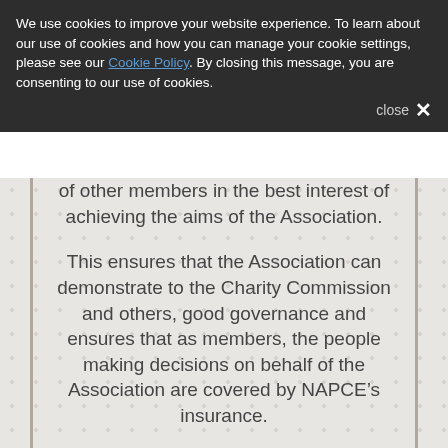We use cookies to improve your website experience. To learn about our use of cookies and how you can manage your cookie settings, please see our Cookie Policy. By closing this message, you are consenting to our use of cookies.
of other members in the best interest of achieving the aims of the Association.
This ensures that the Association can demonstrate to the Charity Commission and others, good governance and ensures that as members, the people making decisions on behalf of the Association are covered by NAPCE’s insurance.
All members are contributing to Association finances, as subscriptions are managed by Taylor and Francis but the funding it generates is returned to NAPCE to support our work.